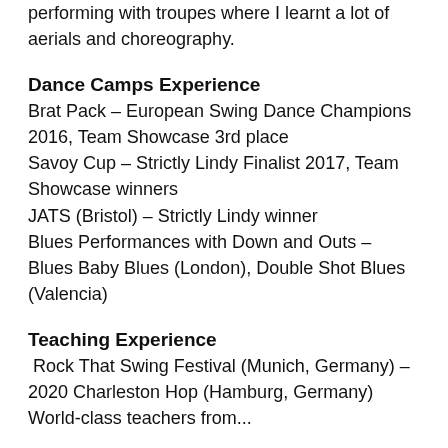performing with troupes where I learnt a lot of aerials and choreography.
Dance Camps Experience
Brat Pack – European Swing Dance Champions 2016, Team Showcase 3rd place
Savoy Cup – Strictly Lindy Finalist 2017, Team Showcase winners
JATS (Bristol) – Strictly Lindy winner
Blues Performances with Down and Outs – Blues Baby Blues (London), Double Shot Blues (Valencia)
Teaching Experience
Rock That Swing Festival (Munich, Germany) – 2020 Charleston Hop (Hamburg, Germany)
World-class teachers from...